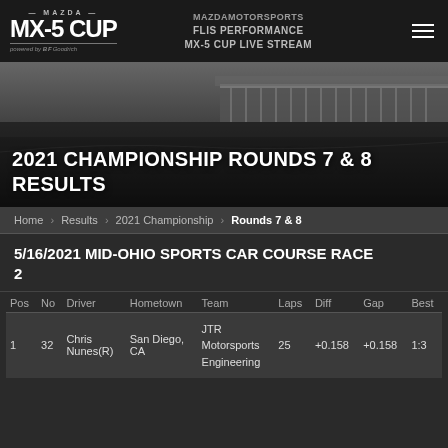MAZDA MX-5 CUP | MAZDAMOTORSPORTS | FLIS PERFORMANCE | MX-5 CUP LIVE STREAM
[Figure (photo): Black and white photo of a racing circuit with grandstands in the background]
2021 CHAMPIONSHIP ROUNDS 7 & 8 RESULTS
Home > Results > 2021 Championship > Rounds 7 & 8
5/16/2021 MID-OHIO SPORTS CAR COURSE RACE 2
| Pos | No | Driver | Hometown | Team | Laps | Diff | Gap | Best |
| --- | --- | --- | --- | --- | --- | --- | --- | --- |
| 1 | 32 | Chris Nunes(R) | San Diego, CA | JTR Motorsports Engineering | 25 | +0.158 | +0.158 | 1:3? |